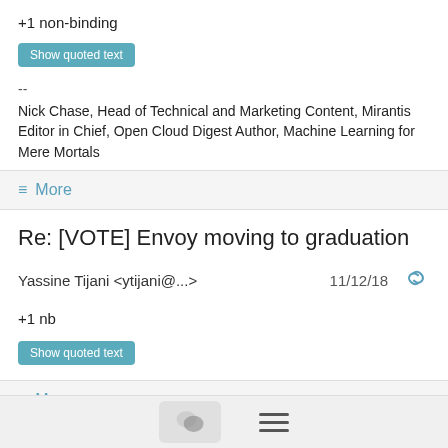+1 non-binding
Show quoted text
--
Nick Chase, Head of Technical and Marketing Content, Mirantis Editor in Chief, Open Cloud Digest Author, Machine Learning for Mere Mortals
≡ More
Re: [VOTE] Envoy moving to graduation
Yassine Tijani <ytijani@...>   11/12/18
+1 nb
Show quoted text
≡ More